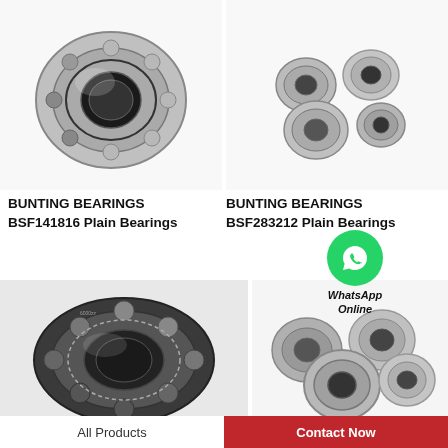[Figure (photo): Single large ball bearing (open type) on white background - Bunting Bearings BSF141816]
[Figure (photo): Four small miniature ball bearings on white background - Bunting Bearings BSF283212]
BUNTING BEARINGS BSF141816 Plain Bearings
BUNTING BEARINGS BSF283212 Plain Bearings
[Figure (illustration): WhatsApp Online badge/icon overlay]
[Figure (photo): Large ball bearing (open type) on white background - bottom left]
[Figure (photo): Group of multiple ball bearings piled together - bottom right]
All Products
Contact Now